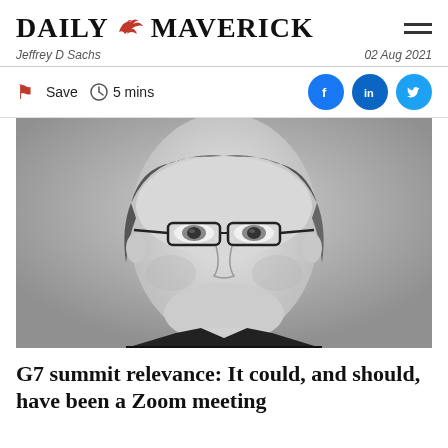DAILY MAVERICK
Jeffrey D Sachs   02 Aug 2021
Save  5 mins
[Figure (photo): Black and white close-up portrait photo of a man wearing glasses, slightly smiling, wearing a dark suit jacket and white shirt.]
G7 summit relevance: It could, and should, have been a Zoom meeting